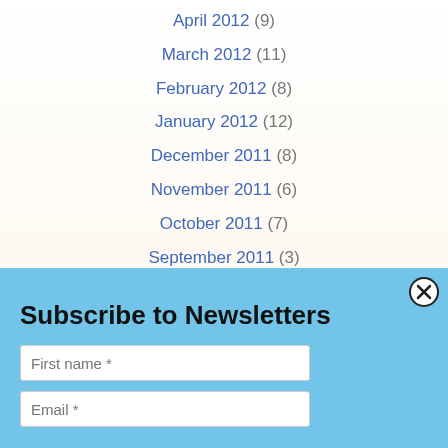April 2012 (9)
March 2012 (11)
February 2012 (8)
January 2012 (12)
December 2011 (8)
November 2011 (6)
October 2011 (7)
September 2011 (3)
August 2011 (4)
July 2011 (8)
Subscribe to Newsletters
First name *
Email *